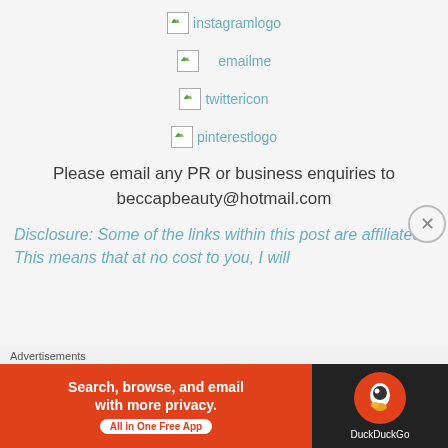[Figure (logo): Broken image placeholder for instagramlogo]
[Figure (logo): Broken image placeholder for emailme]
[Figure (logo): Broken image placeholder for twittericon]
[Figure (logo): Broken image placeholder for pinterestlogo]
Please email any PR or business enquiries to beccapbeauty@hotmail.com
Disclosure: Some of the links within this post are affiliated. This means that at no cost to you, I will
Advertisements
[Figure (screenshot): DuckDuckGo advertisement banner: Search, browse, and email with more privacy. All in One Free App]